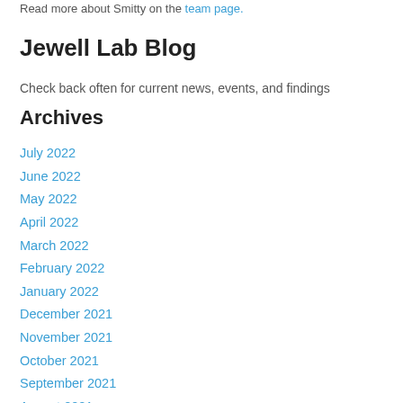Read more about Smitty on the team page.
Jewell Lab Blog
Check back often for current news, events, and findings
Archives
July 2022
June 2022
May 2022
April 2022
March 2022
February 2022
January 2022
December 2021
November 2021
October 2021
September 2021
August 2021
July 2021
June 2021
May 2021